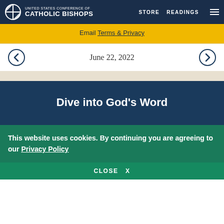UNITED STATES CONFERENCE OF CATHOLIC BISHOPS | STORE | READINGS
Email Terms & Privacy
June 22, 2022
Dive into God's Word
This website uses cookies. By continuing you are agreeing to our Privacy Policy
CLOSE X